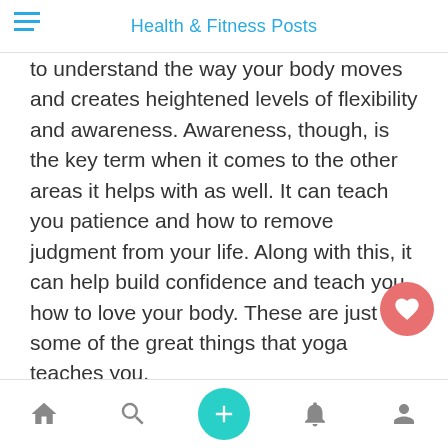Health & Fitness Posts
to understand the way your body moves and creates heightened levels of flexibility and awareness. Awareness, though, is the key term when it comes to the other areas it helps with as well. It can teach you patience and how to remove judgment from your life. Along with this, it can help build confidence and teach you how to love your body. These are just some of the great things that yoga teaches you.
That being said, to understand what exactly you learn from incorporating yoga into your life, you have to understand not only the core philosophies,
Navigation bar with home, search, add, notifications, and profile icons